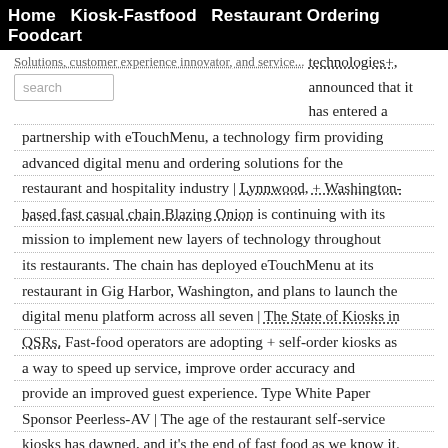Home  Kiosk-Fastfood  Restaurant Ordering  Foodcart
Solutions, customer experience innovator, and service technologies+, announced that it has entered a partnership with eTouchMenu, a technology firm providing advanced digital menu and ordering solutions for the restaurant and hospitality industry | Lynnwood, + Washington-based fast casual chain Blazing Onion is continuing with its mission to implement new layers of technology throughout its restaurants. The chain has deployed eTouchMenu at its restaurant in Gig Harbor, Washington, and plans to launch the digital menu platform across all seven | The State of Kiosks in QSRs. Fast-food operators are adopting + self-order kiosks as a way to speed up service, improve order accuracy and provide an improved guest experience. Type White Paper Sponsor Peerless-AV | The age of the restaurant self-service kiosks has dawned, and it's the end of fast food as we know it. McDonald's is striding into the 21st century with the + rollout